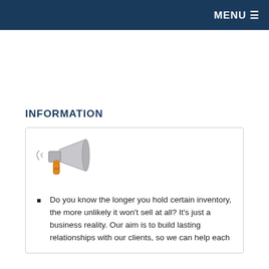MENU ☰
INFORMATION
[Figure (illustration): Megaphone / bullhorn icon in orange and grey]
Do you know the longer you hold certain inventory, the more unlikely it won't sell at all? It's just a business reality. Our aim is to build lasting relationships with our clients, so we can help each